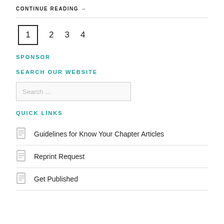CONTINUE READING →
1  2  3  4
SPONSOR
SEARCH OUR WEBSITE
Search ...
QUICK LINKS
Guidelines for Know Your Chapter Articles
Reprint Request
Get Published